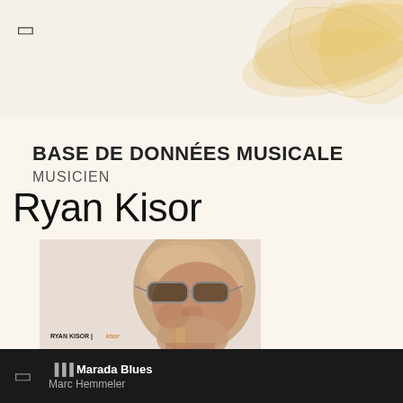BASE DE DONNÉES MUSICALE
MUSICIEN
Ryan Kisor
[Figure (photo): Album cover photo of Ryan Kisor wearing sunglasses, with a trumpet visible in the foreground. Text on cover reads: RYAN KISOR | kisor]
⏐  ᐧIII Marada Blues
Marc Hemmeler